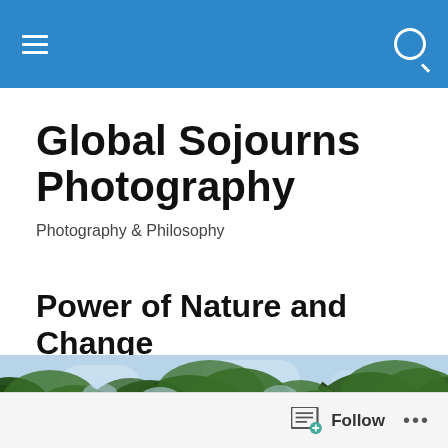Navigation bar with hamburger menu and search icon
Global Sojourns Photography
Photography & Philosophy
Power of Nature and Change
[Figure (photo): Upward view of tall trees with green foliage against a light blue sky]
Follow   ...